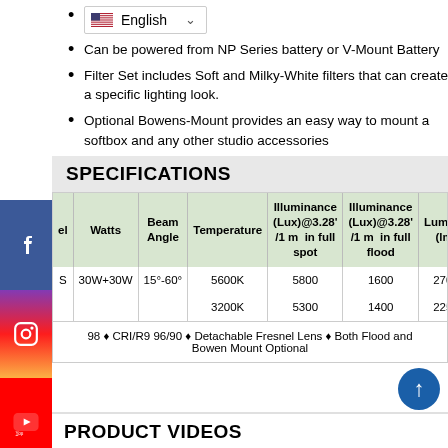English (language selector)
Can be powered from NP Series battery or V-Mount Battery
Filter Set includes Soft and Milky-White filters that can create a specific lighting look.
Optional Bowens-Mount provides an easy way to mount a softbox and any other studio accessories
SPECIFICATIONS
| el | Watts | Beam Angle | Temperature | Illuminance (Lux)@3.28' /1m in full spot | Illuminance (Lux)@3.28' /1m in full flood | Lumens (lm) |
| --- | --- | --- | --- | --- | --- | --- |
| S | 30W+30W | 15°-60° | 5600K | 5800 | 1600 | 2700 |
| S | 30W+30W | 15°-60° | 3200K | 5300 | 1400 | 2250 |
98 ♦ CRI/R9 96/90 ♦ Detachable Fresnel Lens ♦ Both Flood and Bowen Mount Optional
PRODUCT VIDEOS